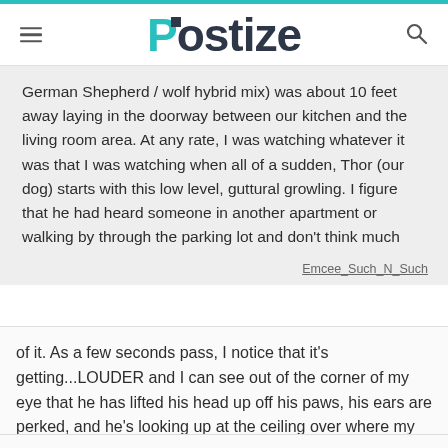Postize
German Shepherd / wolf hybrid mix) was about 10 feet away laying in the doorway between our kitchen and the living room area. At any rate, I was watching whatever it was that I was watching when all of a sudden, Thor (our dog) starts with this low level, guttural growling. I figure that he had heard someone in another apartment or walking by through the parking lot and don't think much
Emcee_Such_N_Such
of it. As a few seconds pass, I notice that it's getting...LOUDER and I can see out of the corner of my eye that he has lifted his head up off his paws, his ears are perked, and he's looking up at the ceiling over where my daughter was laying. I look up, don't see anything, tell him to knock it off.
Emcee_Such_N_Such